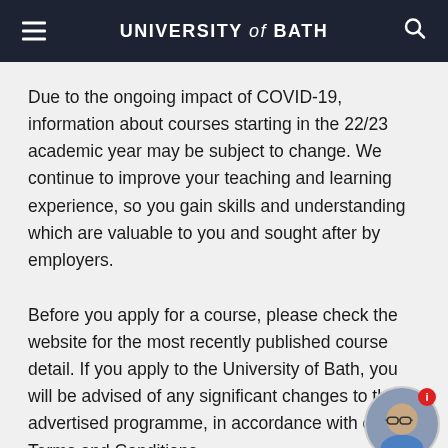UNIVERSITY of BATH
Due to the ongoing impact of COVID-19, information about courses starting in the 22/23 academic year may be subject to change. We continue to improve your teaching and learning experience, so you gain skills and understanding which are valuable to you and sought after by employers.
Before you apply for a course, please check the website for the most recently published course detail. If you apply to the University of Bath, you will be advised of any significant changes to the advertised programme, in accordance with our Terms and Conditions.
[Figure (photo): Circular avatar photo of a man wearing glasses and a blue shirt, with a red info badge in the top-right corner.]